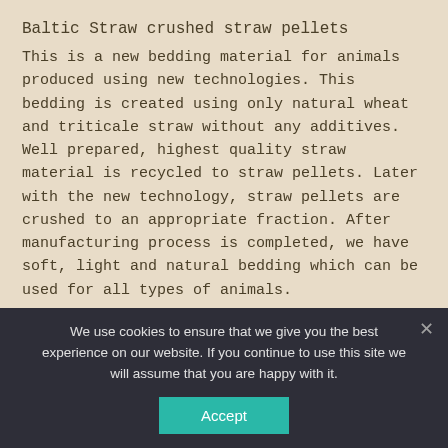Baltic Straw crushed straw pellets
This is a new bedding material for animals produced using new technologies. This bedding is created using only natural wheat and triticale straw without any additives. Well prepared, highest quality straw material is recycled to straw pellets. Later with the new technology, straw pellets are crushed to an appropriate fraction. After manufacturing process is completed, we have soft, light and natural bedding which can be used for all types of animals.
Crushed straw pellets bedding use is growing in poultry, cattle, pig and other animal farms. This bedding is also
We use cookies to ensure that we give you the best experience on our website. If you continue to use this site we will assume that you are happy with it.